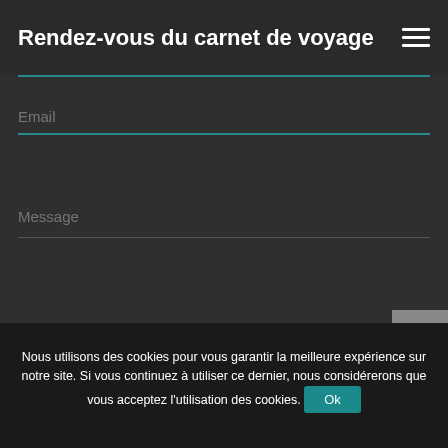Rendez-vous du carnet de voyage
Email
Message
Nous utilisons des cookies pour vous garantir la meilleure expérience sur notre site. Si vous continuez à utiliser ce dernier, nous considérerons que vous acceptez l'utilisation des cookies. Ok